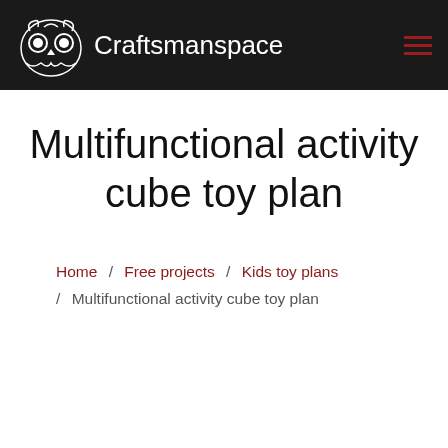Craftsmanspace
Multifunctional activity cube toy plan
Home / Free projects / Kids toy plans / Multifunctional activity cube toy plan